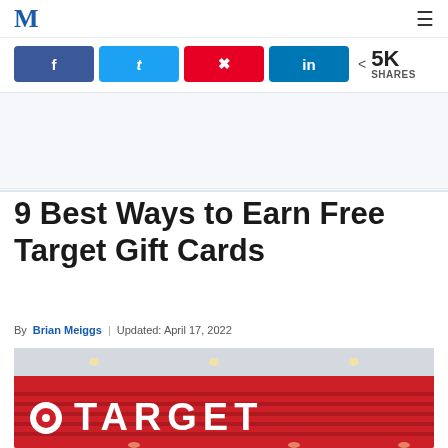M (logo) | hamburger menu
[Figure (infographic): Social share buttons: Facebook, Twitter, Pinterest, LinkedIn, with 5K SHARES count]
[Figure (photo): Advertisement / blank area]
9 Best Ways to Earn Free Target Gift Cards
By Brian Meiggs | Updated: April 17, 2022
[Figure (photo): Photo of Target store exterior showing the Target logo sign in red and white]